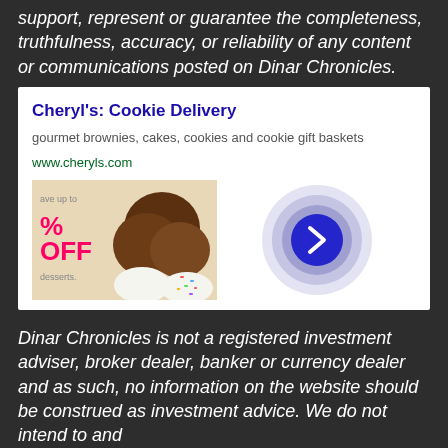support, represent or guarantee the completeness, truthfulness, accuracy, or reliability of any content or communications posted on Dinar Chronicles.
[Figure (screenshot): Advertisement for Cheryl's Cookie Delivery showing title 'Cheryl's: Cookie Delivery', description 'gourmet brownies, cakes, cookies and cookie gift baskets', URL 'www.cheryls.com', and an image of cookies with a discount offer and a navigation arrow button.]
Dinar Chronicles is not a registered investment adviser, broker dealer, banker or currency dealer and as such, no information on the website should be construed as investment advice. We do not intend to and